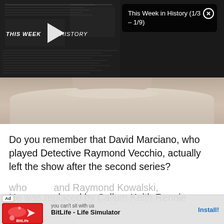[Figure (screenshot): Video thumbnail showing 'THIS WEEK IN HISTORY' title with play button overlay, dark background with newspaper-style graphics, and person in cream sweater visible below]
This Week in History (1/3 – 1/9)
Do you remember that David Marciano, who played Detective Raymond Vecchio, actually left the show after the second series?
He was replaced by Callum Keith Rennie
who played Raymond Kowalski, but Marciano will appear in both the
[Figure (screenshot): Advertisement banner for BitLife - Life Simulator app with 'Ad' badge and Install button]